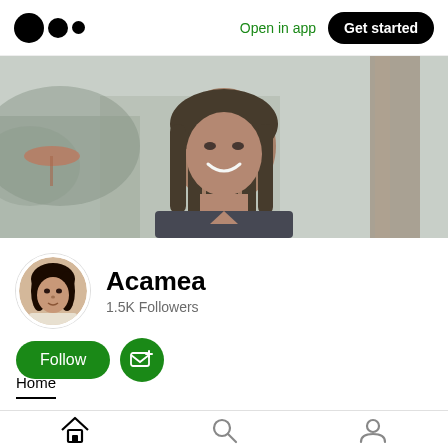[Figure (logo): Medium logo — three black circles of decreasing size arranged horizontally]
Open in app
Get started
[Figure (photo): Banner/cover photo showing a smiling woman with box braids wearing a dark top, sitting outdoors near a palm tree and garden]
[Figure (photo): Circular avatar photo of a woman with curly hair wearing a light-colored top]
Acamea
1.5K Followers
Follow
Home
[Figure (illustration): Bottom navigation bar with home icon (active), search/magnifier icon, and profile icon]